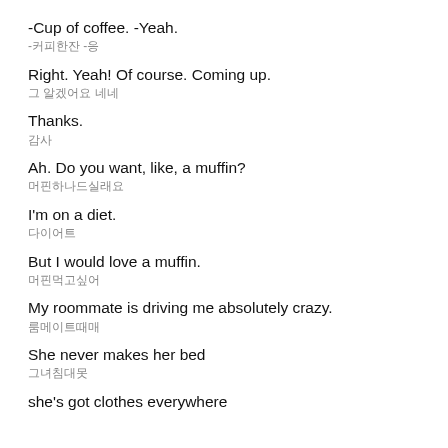-Cup of coffee. -Yeah.
-커피 한잔 -응
Right. Yeah! Of course. Coming up.
그 알겠어요 네네
Thanks.
감사
Ah. Do you want, like, a muffin?
머핀하나드실래요
I'm on a diet.
다이어트
But I would love a muffin.
머핀먹고싶어
My roommate is driving me absolutely crazy.
룸메이트때매
She never makes her bed
그녀침대못
she's got clothes everywhere